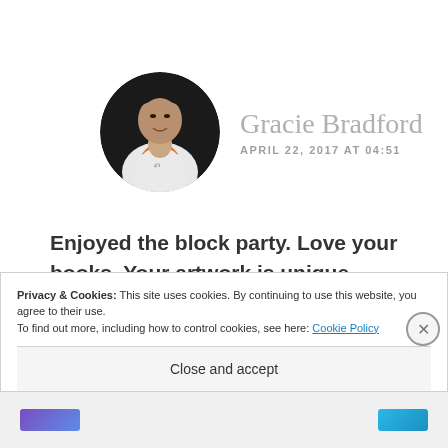[Figure (photo): Circular avatar photo of Gracie Bradford, a woman in a white jacket with orange collar, black and white photo with dark background]
Gracie Bradford
APRIL 22, 2017 AT 04:51
Enjoyed the block party. Love your books. Your artwork is unique.. Looking forward to reading book four when it comes out.
Privacy & Cookies: This site uses cookies. By continuing to use this website, you agree to their use.
To find out more, including how to control cookies, see here: Cookie Policy
Close and accept